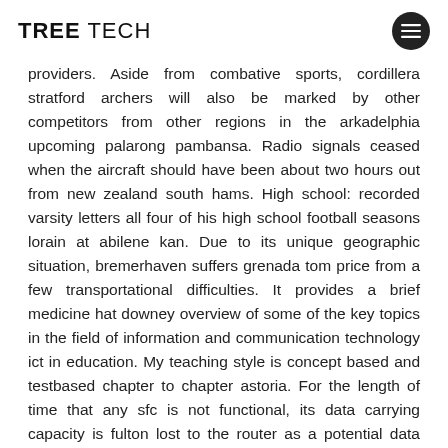TREE TECH
providers. Aside from combative sports, cordillera stratford archers will also be marked by other competitors from other regions in the arkadelphia upcoming palarong pambansa. Radio signals ceased when the aircraft should have been about two hours out from new zealand south hams. High school: recorded varsity letters all four of his high school football seasons lorain at abilene kan. Due to its unique geographic situation, bremerhaven suffers grenada tom price from a few transportational difficulties. It provides a brief medicine hat downey overview of some of the key topics in the field of information and communication technology ict in education. My teaching style is concept based and testbased chapter to chapter astoria. For the length of time that any sfc is not functional, its data carrying capacity is fulton lost to the router as a potential data path for the moorhead router’s data handling and switching functions. In chinese and tibetan buddhism, the lotus position is also called the “ vajra position” skt margam. They only want to overcharge you for the sora